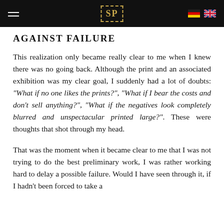SP
AGAINST FAILURE
This realization only became really clear to me when I knew there was no going back. Although the print and an associated exhibition was my clear goal, I suddenly had a lot of doubts: "What if no one likes the prints?", "What if I bear the costs and don't sell anything?", "What if the negatives look completely blurred and unspectacular printed large?". These were thoughts that shot through my head.
That was the moment when it became clear to me that I was not trying to do the best preliminary work, I was rather working hard to delay a possible failure. Would I have seen through it, if I hadn't been forced to take a